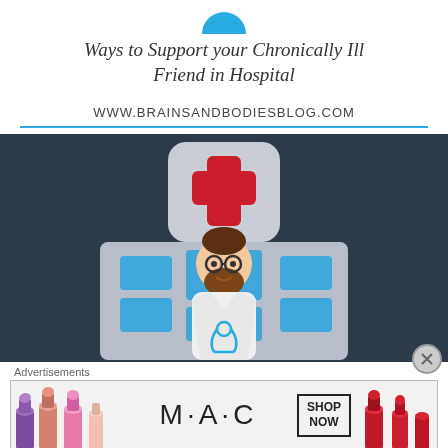Ways to Support your Chronically Ill Friend in Hospital
WWW.BRAINSANDBODIESBLOG.COM
[Figure (illustration): Flat-style illustration of a hospital building with a red cross symbol on top and a cartoon bearded male doctor wearing glasses and a white coat with a stethoscope, set against a dark navy background.]
Advertisements
[Figure (other): MAC cosmetics advertisement showing colorful lipsticks on left and right sides, MAC logo in center, and a 'SHOP NOW' button box.]